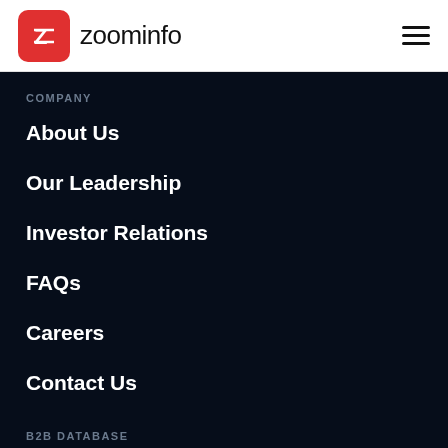zoominfo
COMPANY
About Us
Our Leadership
Investor Relations
FAQs
Careers
Contact Us
B2B DATABASE
Our Data
Data Transparency